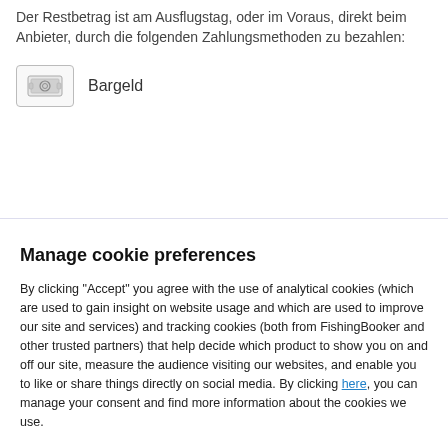Der Restbetrag ist am Ausflugstag, oder im Voraus, direkt beim Anbieter, durch die folgenden Zahlungsmethoden zu bezahlen:
Bargeld
Manage cookie preferences
By clicking "Accept" you agree with the use of analytical cookies (which are used to gain insight on website usage and which are used to improve our site and services) and tracking cookies (both from FishingBooker and other trusted partners) that help decide which product to show you on and off our site, measure the audience visiting our websites, and enable you to like or share things directly on social media. By clicking here, you can manage your consent and find more information about the cookies we use.
Manage settings | Accept